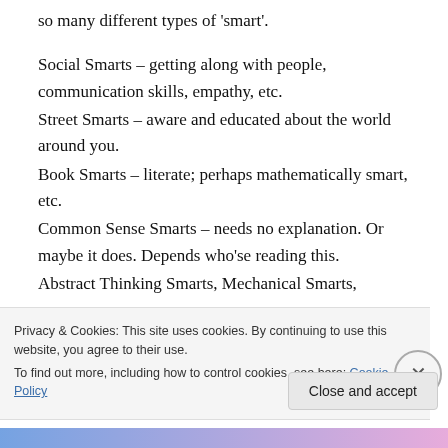so many different types of 'smart'.
Social Smarts – getting along with people, communication skills, empathy, etc.
Street Smarts – aware and educated about the world around you.
Book Smarts – literate; perhaps mathematically smart, etc.
Common Sense Smarts – needs no explanation. Or maybe it does. Depends who'se reading this.
Abstract Thinking Smarts, Mechanical Smarts,
Privacy & Cookies: This site uses cookies. By continuing to use this website, you agree to their use.
To find out more, including how to control cookies, see here: Cookie Policy